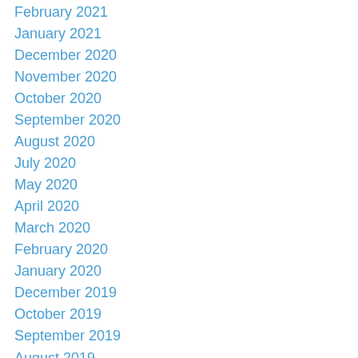February 2021
January 2021
December 2020
November 2020
October 2020
September 2020
August 2020
July 2020
May 2020
April 2020
March 2020
February 2020
January 2020
December 2019
October 2019
September 2019
August 2019
May 2019
April 2019
March 2019